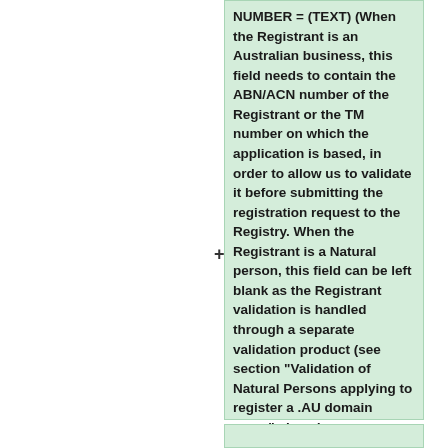NUMBER = (TEXT) (When the Registrant is an Australian business, this field needs to contain the ABN/ACN number of the Registrant or the TM number on which the application is based, in order to allow us to validate it before submitting the registration request to the Registry. When the Registrant is a Natural person, this field can be left blank as the Registrant validation is handled through a separate validation product (see section "Validation of Natural Persons applying to register a .AU domain name" above).